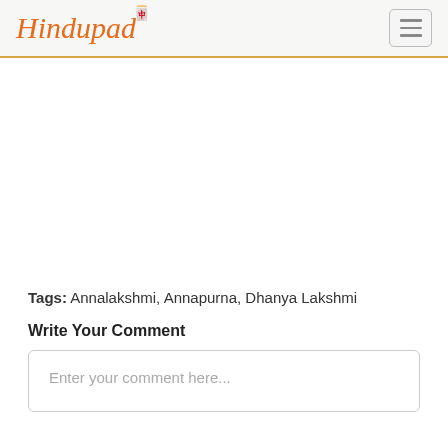Hindupad
Tags: Annalakshmi, Annapurna, Dhanya Lakshmi
Write Your Comment
Enter your comment here...